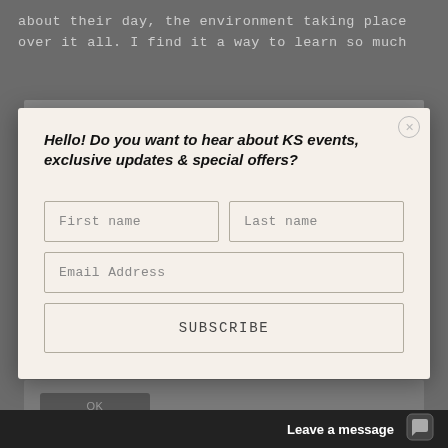about their day, the environment taking place over it all. I find it a way to learn so much
[Figure (screenshot): Background webpage content partially visible behind modal overlay, with dark grey overlay and a chat widget at the bottom showing 'Leave a message']
Hello! Do you want to hear about KS events, exclusive updates & special offers?
First name
Last name
Email Address
SUBSCRIBE
OK
Leave a message